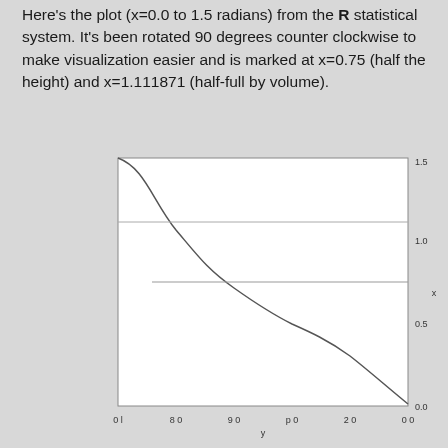Here's the plot (x=0.0 to 1.5 radians) from the R statistical system. It's been rotated 90 degrees counter clockwise to make visualization easier and is marked at x=0.75 (half the height) and x=1.111871 (half-full by volume).
[Figure (continuous-plot): A plot rotated 90 degrees counter clockwise showing a curve that decreases from top-left to bottom-right. The x-axis (labeled 'y', running right to left: 1.0, 0.8, 0.6, 0.4, 0.2, 0.0) is at the bottom. The y-axis (labeled 'x', running bottom to top: 0.0, 0.5, 1.0, 1.5) is on the right. Two horizontal reference lines are drawn: one at approximately x=0.75 and one at approximately x=1.111871.]